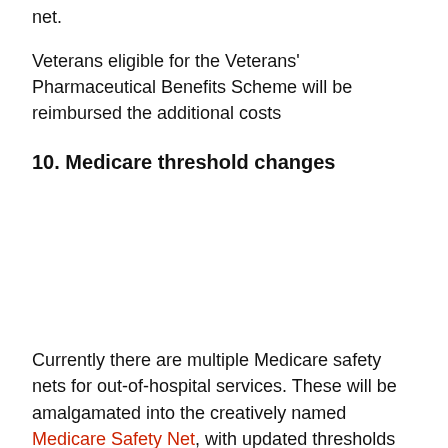net.
Veterans eligible for the Veterans' Pharmaceutical Benefits Scheme will be reimbursed the additional costs
10. Medicare threshold changes
Currently there are multiple Medicare safety nets for out-of-hospital services. These will be amalgamated into the creatively named Medicare Safety Net, with updated thresholds for patients. Individuals will not need to register